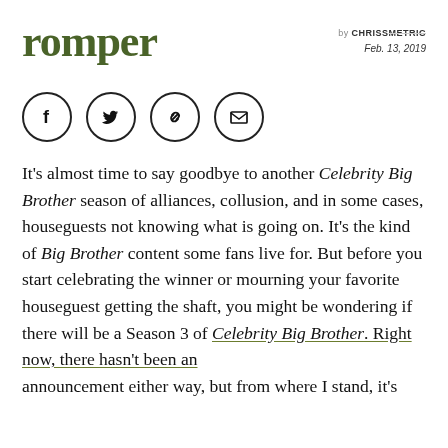romper
by CHRISSMETRIC
Feb. 13, 2019
[Figure (other): Social sharing icons: Facebook, Twitter, link/chain, email envelope — each in a circle outline]
It’s almost time to say goodbye to another Celebrity Big Brother season of alliances, collusion, and in some cases, houseguests not knowing what is going on. It’s the kind of Big Brother content some fans live for. But before you start celebrating the winner or mourning your favorite houseguest getting the shaft, you might be wondering if there will be a Season 3 of Celebrity Big Brother. Right now, there hasn't been an announcement either way, but from where I stand, it’s